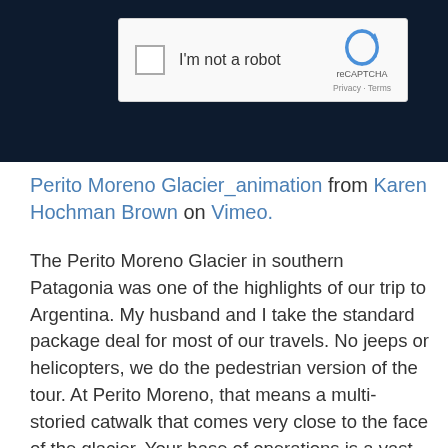[Figure (screenshot): reCAPTCHA widget showing 'I'm not a robot' checkbox with reCAPTCHA logo, Privacy and Terms links, displayed on a dark navy background]
Perito Moreno Glacier_animation from Karen Hochman Brown on Vimeo.
The Perito Moreno Glacier in southern Patagonia was one of the highlights of our trip to Argentina. My husband and I take the standard package deal for most of our travels. No jeeps or helicopters, we do the pedestrian version of the tour. At Perito Moreno, that means a multi-storied catwalk that comes very close to the face of the glacier. Your base of operations is a vast tourist center/cafeteria atop an overlook to the giant glacier. And you walk down a metal path that